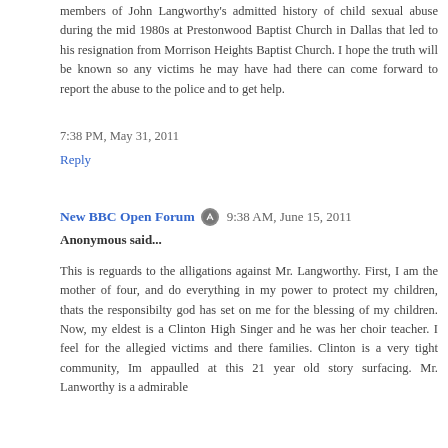members of John Langworthy's admitted history of child sexual abuse during the mid 1980s at Prestonwood Baptist Church in Dallas that led to his resignation from Morrison Heights Baptist Church. I hope the truth will be known so any victims he may have had there can come forward to report the abuse to the police and to get help.
7:38 PM, May 31, 2011
Reply
New BBC Open Forum  9:38 AM, June 15, 2011
Anonymous said...
This is reguards to the alligations against Mr. Langworthy. First, I am the mother of four, and do everything in my power to protect my children, thats the responsibilty god has set on me for the blessing of my children. Now, my eldest is a Clinton High Singer and he was her choir teacher. I feel for the allegied victims and there families. Clinton is a very tight community, Im appaulled at this 21 year old story surfacing. Mr. Lanworthy is a admirable